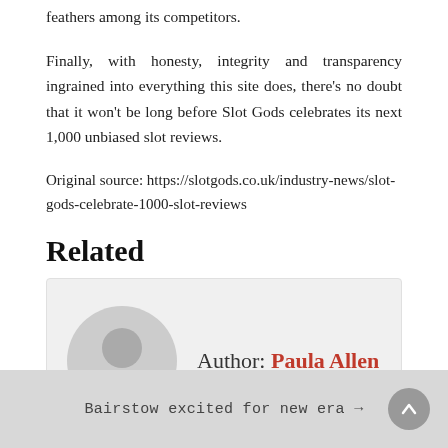feathers among its competitors.
Finally, with honesty, integrity and transparency ingrained into everything this site does, there’s no doubt that it won’t be long before Slot Gods celebrates its next 1,000 unbiased slot reviews.
Original source: https://slotgods.co.uk/industry-news/slot-gods-celebrate-1000-slot-reviews
Related
Author: Paula Allen
Bairstow excited for new era →